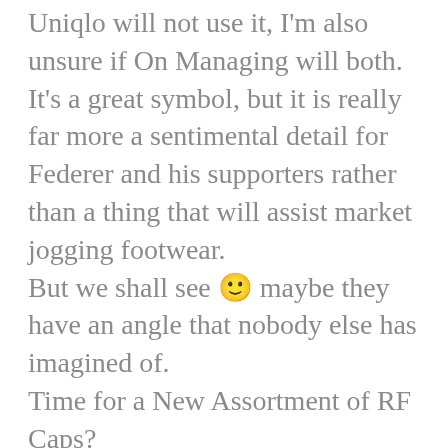Uniqlo will not use it, I'm also unsure if On Managing will both. It's a great symbol, but it is really far more a sentimental detail for Federer and his supporters rather than a thing that will assist market jogging footwear. But we shall see 🙂 maybe they have an angle that nobody else has imagined of.
Time for a New Assortment of RF Caps?
So with Uniqlo seemingly uninterested, and On Managing supplying no in-depth facts, there